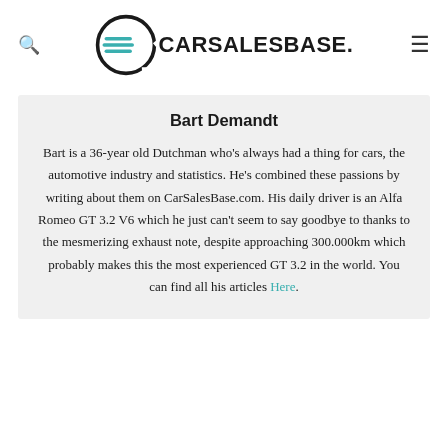CARSALESBASE.
Bart Demandt
Bart is a 36-year old Dutchman who's always had a thing for cars, the automotive industry and statistics. He's combined these passions by writing about them on CarSalesBase.com. His daily driver is an Alfa Romeo GT 3.2 V6 which he just can't seem to say goodbye to thanks to the mesmerizing exhaust note, despite approaching 300.000km which probably makes this the most experienced GT 3.2 in the world. You can find all his articles Here.